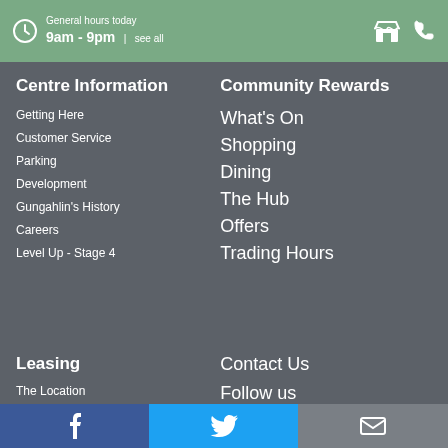General hours today 9am - 9pm | see all
Centre Information
Getting Here
Customer Service
Parking
Development
Gungahlin's History
Careers
Level Up - Stage 4
Community Rewards
What's On
Shopping
Dining
The Hub
Offers
Trading Hours
Leasing
The Location
Contact Us
Follow us